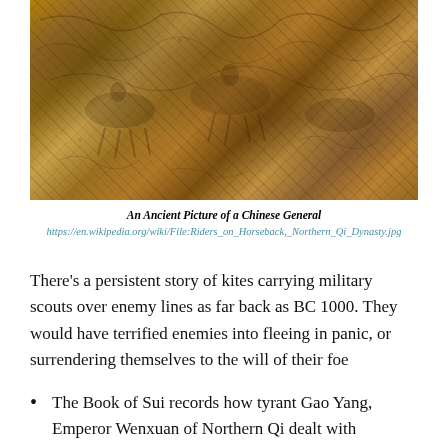[Figure (photo): An ancient painting/artwork depicting riders or figures on horseback, rendered in brown and ochre tones, appearing to be a historical Chinese artwork from the Northern Qi Dynasty.]
An Ancient Picture of a Chinese General
https://en.wikipedia.org/wiki/File:Riders_on_Horseback,_Northern_Qi_Dynasty.jpg
There's a persistent story of kites carrying military scouts over enemy lines as far back as BC 1000. They would have terrified enemies into fleeing in panic, or surrendering themselves to the will of their foe
The Book of Sui records how tyrant Gao Yang, Emperor Wenxuan of Northern Qi dealt with prisoners around BC 550. He ordered them to